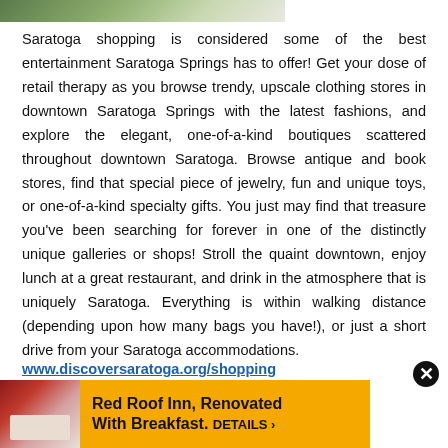[Figure (photo): Partial view of an outdoor/nature photo strip at the top of the page]
Saratoga shopping is considered some of the best entertainment Saratoga Springs has to offer! Get your dose of retail therapy as you browse trendy, upscale clothing stores in downtown Saratoga Springs with the latest fashions, and explore the elegant, one-of-a-kind boutiques scattered throughout downtown Saratoga. Browse antique and book stores, find that special piece of jewelry, fun and unique toys, or one-of-a-kind specialty gifts. You just may find that treasure you've been searching for forever in one of the distinctly unique galleries or shops! Stroll the quaint downtown, enjoy lunch at a great restaurant, and drink in the atmosphere that is uniquely Saratoga. Everything is within walking distance (depending upon how many bags you have!), or just a short drive from your Saratoga accommodations.
www.discoversaratoga.org/shopping
[Figure (other): Advertisement banner for Red Roof Inn, Renovated With Breakfast. DETAILS ›]